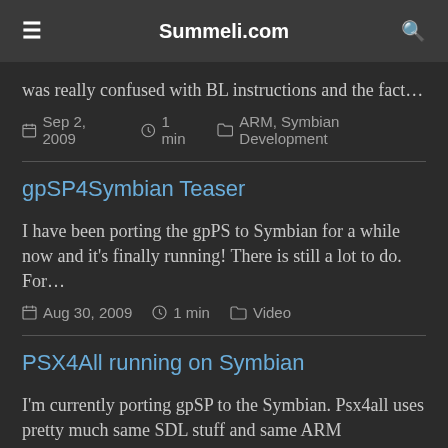Summeli.com
was really confused with BL instructions and the fact…
Sep 2, 2009   1 min   ARM, Symbian Development
gpSP4Symbian Teaser
I have been porting the gpPS to Symbian for a while now and it's finally running! There is still a lot to do. For…
Aug 30, 2009   1 min   Video
PSX4All running on Symbian
I'm currently porting gpSP to the Symbian. Psx4all uses pretty much same SDL stuff and same ARM assembly…